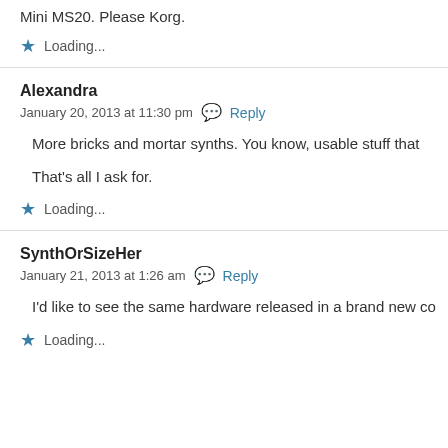Mini MS20. Please Korg.
★ Loading...
Alexandra
January 20, 2013 at 11:30 pm  Reply
More bricks and mortar synths. You know, usable stuff that
That's all I ask for.
★ Loading...
SynthOrSizeHer
January 21, 2013 at 1:26 am  Reply
I'd like to see the same hardware released in a brand new co
★ Loading...